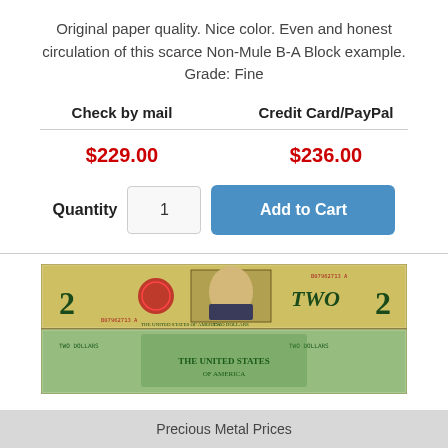Original paper quality. Nice color. Even and honest circulation of this scarce Non-Mule B-A Block example. Grade: Fine
| Check by mail | Credit Card/PayPal |
| --- | --- |
| $229.00 | $236.00 |
Quantity  1  Add to Cart
[Figure (photo): Two-dollar US bill shown from front and back]
Precious Metal Prices